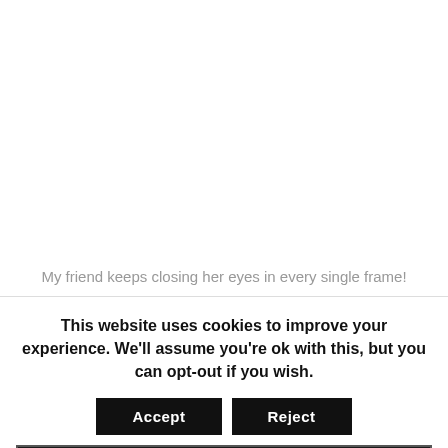My friend keeps closing her eyes in every single frame!
This website uses cookies to improve your experience. We'll assume you're ok with this, but you can opt-out if you wish.
Accept
Reject
Click Here to read more about our Cookies and Privacy Policy